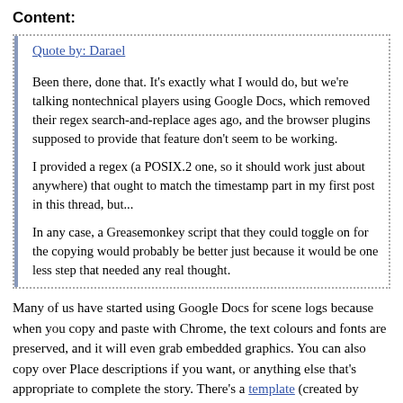Content:
Quote by: Darael

Been there, done that. It's exactly what I would do, but we're talking nontechnical players using Google Docs, which removed their regex search-and-replace ages ago, and the browser plugins supposed to provide that feature don't seem to be working.

I provided a regex (a POSIX.2 one, so it should work just about anywhere) that ought to match the timestamp part in my first post in this thread, but...

In any case, a Greasemonkey script that they could toggle on for the copying would probably be better just because it would be one less step that needed any real thought.
Many of us have started using Google Docs for scene logs because when you copy and paste with Chrome, the text colours and fonts are preserved, and it will even grab embedded graphics. You can also copy over Place descriptions if you want, or anything else that's appropriate to complete the story. There's a template (created by Shiloh) with a background colour that's a good match for the Default skins. This produces sharable archive results nice enough that they are, in my opinion, superior to the old commentary export files. (Example.)
That example still retains its timestamps, but often I do strip them out by hand. Manually deleting timestamps only takes a few minutes, even for fairly lengthy scenes; any script or plugin intended to save time should be easier than that. Other